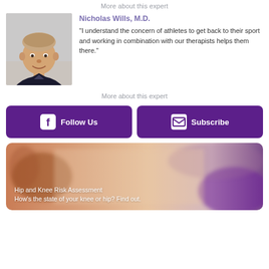More about this expert
Nicholas Wills, M.D. "I understand the concern of athletes to get back to their sport and working in combination with our therapists helps them there."
More about this expert
Follow Us
Subscribe
[Figure (infographic): Hip and Knee Risk Assessment banner image with blurred background showing hands, with text: Hip and Knee Risk Assessment / How's the state of your knee or hip? Find out.]